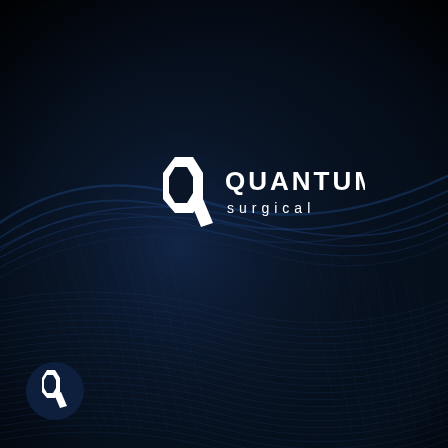[Figure (logo): Quantum Surgical logo on dark navy/black background with abstract wave pattern. Center: white geometric Q-shaped icon with inner hexagon cutout and descending tail, next to white text QUANTUM (bold, uppercase, wide tracking) and surgical (regular weight, lowercase, spaced). Bottom-left: small circular dark badge with smaller version of the same Q icon.]